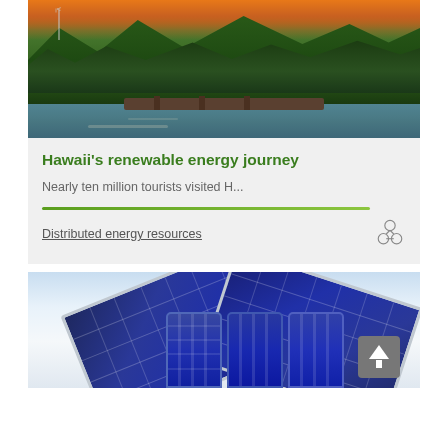[Figure (photo): Aerial/landscape photo of Hawaii with tropical green mountains, a lake or river with a wooden bridge, wind turbines in background, sunset sky with orange glow]
Hawaii's renewable energy journey
Nearly ten million tourists visited H...
Distributed energy resources
[Figure (photo): Image of solar panels arranged as a roof shape over cylindrical battery cells, representing distributed energy resources/home solar storage]